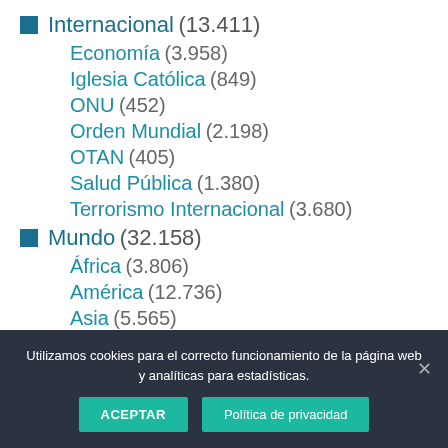Internacional (13.411)
Economía (3.958)
Iglesia Católica (849)
ONU (452)
Orden Mundial (2.198)
OTAN (405)
Salud Pública (1.380)
Terrorismo Internacional (3.680)
Mundo (32.158)
África (3.806)
América (12.736)
Asia (5.565)
Cáucaso (335)
Oceanía (261)
Utilizamos cookies para el correcto funcionamiento de la página web y analíticas para estadísticas.
ACEPTAR | Política de privacidad